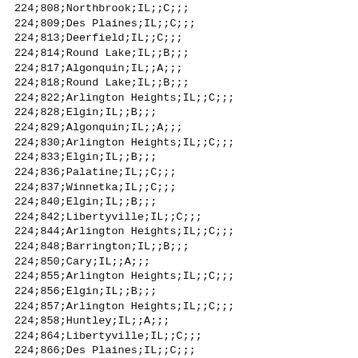| area_code | exchange | city | state | col5 | col6 | col7 | col8 |
| --- | --- | --- | --- | --- | --- | --- | --- |
| 224 | 808 | Northbrook | IL |  | C |  |  |
| 224 | 809 | Des Plaines | IL |  | C |  |  |
| 224 | 813 | Deerfield | IL |  | C |  |  |
| 224 | 814 | Round Lake | IL |  | B |  |  |
| 224 | 817 | Algonquin | IL |  | A |  |  |
| 224 | 818 | Round Lake | IL |  | B |  |  |
| 224 | 822 | Arlington Heights | IL |  | C |  |  |
| 224 | 828 | Elgin | IL |  | B |  |  |
| 224 | 829 | Algonquin | IL |  | A |  |  |
| 224 | 830 | Arlington Heights | IL |  | C |  |  |
| 224 | 833 | Elgin | IL |  | B |  |  |
| 224 | 836 | Palatine | IL |  | C |  |  |
| 224 | 837 | Winnetka | IL |  | C |  |  |
| 224 | 840 | Elgin | IL |  | B |  |  |
| 224 | 842 | Libertyville | IL |  | C |  |  |
| 224 | 844 | Arlington Heights | IL |  | C |  |  |
| 224 | 848 | Barrington | IL |  | B |  |  |
| 224 | 850 | Cary | IL |  | A |  |  |
| 224 | 855 | Arlington Heights | IL |  | C |  |  |
| 224 | 856 | Elgin | IL |  | B |  |  |
| 224 | 857 | Arlington Heights | IL |  | C |  |  |
| 224 | 858 | Huntley | IL |  | A |  |  |
| 224 | 864 | Libertyville | IL |  | C |  |  |
| 224 | 866 | Des Plaines | IL |  | C |  |  |
| 224 | 875 | Elk Grove | IL |  | C |  |  |
| 224 | 877 | Elk Grove | IL |  | C |  |  |
| 224 | 880 | Lake Forest | IL |  | C |  |  |
| 224 | 888 | Cary | IL |  | A |  |  |
| 224 | 899 | Wheeling | IL |  | C |  |  |
| 224 | 900 | Wheeling | IL |  | C |  |  |